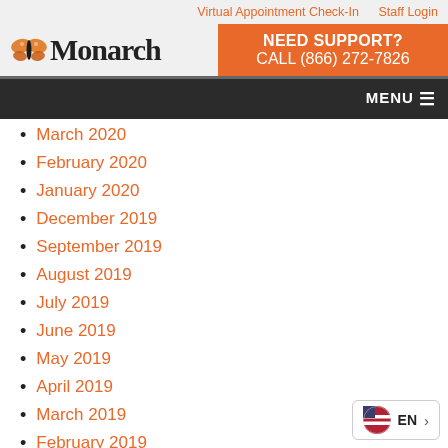Virtual Appointment Check-In   Staff Login
[Figure (logo): Monarch logo with butterfly icon and bold serif text 'Monarch']
NEED SUPPORT?
CALL (866) 272-7826
MENU
March 2020
February 2020
January 2020
December 2019
September 2019
August 2019
July 2019
June 2019
May 2019
April 2019
March 2019
February 2019
January 2019
November 2018
[Figure (other): Language selector widget showing US flag, EN label, and right arrow]